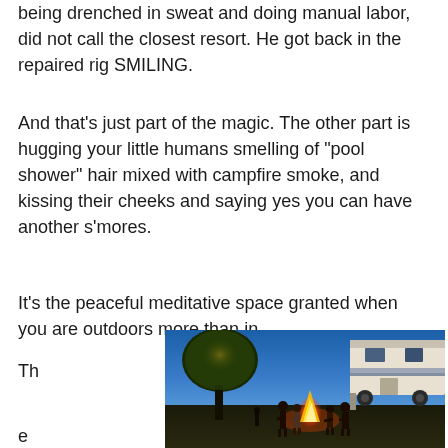being drenched in sweat and doing manual labor, did not call the closest resort.  He got back in the repaired rig SMILING.
And that's just part of the magic.  The other part is hugging your little humans smelling of “pool shower” hair mixed with campfire smoke, and kissing their cheeks and saying yes you can have another s'mores.
It's the peaceful meditative space granted when you are outdoors more than in.
Th
e
m
aki
ng
[Figure (photo): Outdoor evening campfire scene with people standing around a fire, trees lit up, and an RV visible on the right side, blue twilight sky in the background.]